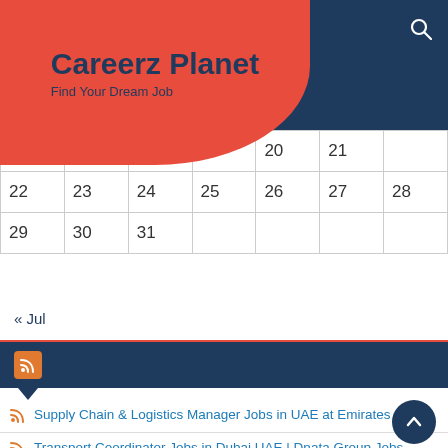Careerz Planet – Find Your Dream Job
| 15 |  |  | 19 | 20 | 21 |
| 22 | 23 | 24 | 25 | 26 | 27 | 28 |
| 29 | 30 | 31 |  |  |  |  |
« Jul
Supply Chain & Logistics Manager Jobs in UAE at Emirates Group
Transport Coordinator Jobs in Dubai UAE | Dnata Group Jobs 2022
Department Officer Jobs in Dubai UAE | Dnata Group Jobs 2022